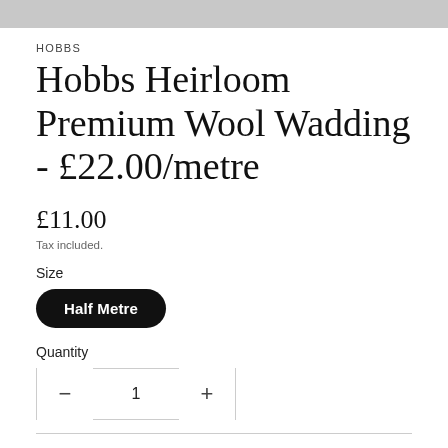[Figure (photo): Grey image bar at top of page, partial product photo]
HOBBS
Hobbs Heirloom Premium Wool Wadding - £22.00/metre
£11.00
Tax included.
Size
Half Metre
Quantity
1